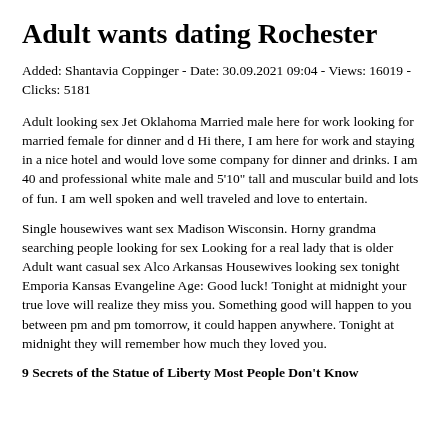Adult wants dating Rochester
Added: Shantavia Coppinger - Date: 30.09.2021 09:04 - Views: 16019 - Clicks: 5181
Adult looking sex Jet Oklahoma Married male here for work looking for married female for dinner and d Hi there, I am here for work and staying in a nice hotel and would love some company for dinner and drinks. I am 40 and professional white male and 5'10" tall and muscular build and lots of fun. I am well spoken and well traveled and love to entertain.
Single housewives want sex Madison Wisconsin. Horny grandma searching people looking for sex Looking for a real lady that is older Adult want casual sex Alco Arkansas Housewives looking sex tonight Emporia Kansas Evangeline Age: Good luck! Tonight at midnight your true love will realize they miss you. Something good will happen to you between pm and pm tomorrow, it could happen anywhere. Tonight at midnight they will remember how much they loved you.
9 Secrets of the Statue of Liberty Most People Don't Know